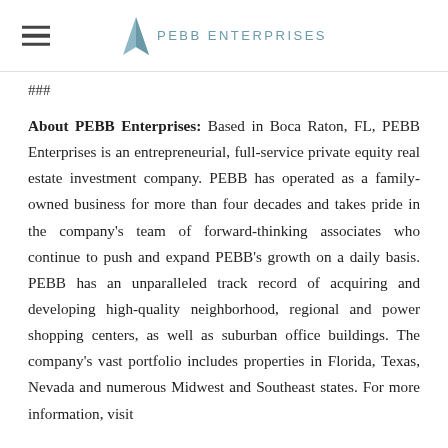PEBB Enterprises
###
About PEBB Enterprises: Based in Boca Raton, FL, PEBB Enterprises is an entrepreneurial, full-service private equity real estate investment company. PEBB has operated as a family-owned business for more than four decades and takes pride in the company's team of forward-thinking associates who continue to push and expand PEBB's growth on a daily basis. PEBB has an unparalleled track record of acquiring and developing high-quality neighborhood, regional and power shopping centers, as well as suburban office buildings. The company's vast portfolio includes properties in Florida, Texas, Nevada and numerous Midwest and Southeast states. For more information, visit